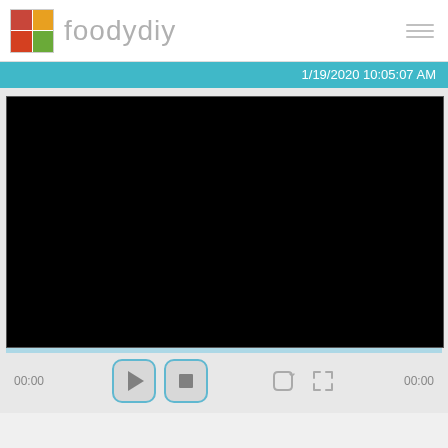[Figure (logo): foodydiy website logo with food image grid and site name text]
1/19/2020 10:05:07 AM
[Figure (screenshot): Black video player screen (no content loaded)]
00:00
00:00